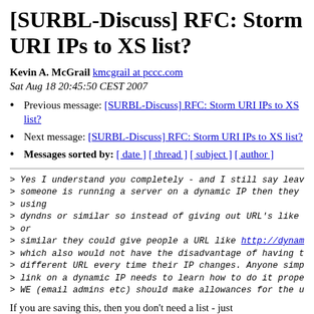[SURBL-Discuss] RFC: Storm URI IPs to XS list?
Kevin A. McGrail kmcgrail at pccc.com
Sat Aug 18 20:45:50 CEST 2007
Previous message: [SURBL-Discuss] RFC: Storm URI IPs to XS list?
Next message: [SURBL-Discuss] RFC: Storm URI IPs to XS list?
Messages sorted by: [ date ] [ thread ] [ subject ] [ author ]
> Yes I understand you completely - and I still say leave
> someone is running a server on a dynamic IP then they s
> using
> dyndns or similar so instead of giving out URL's like h
> or
> similar they could give people a URL like http://dynam:
> which also would not have the disadvantage of having to
> different URL every time their IP changes. Anyone simp.
> link on a dynamic IP needs to learn how to do it prope
> WE (email admins etc) should make allowances for the u
If you are saying this, then you don't need a list - just